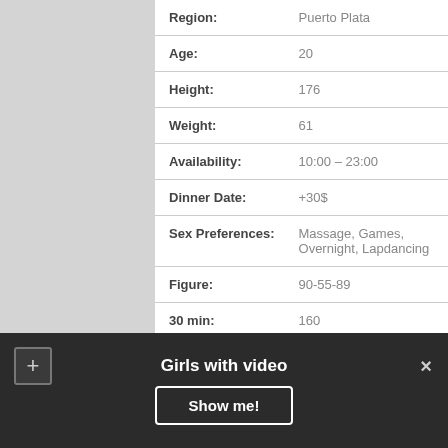| Field | Value |
| --- | --- |
| Region: | Puerto Plata |
| Age: | 20 |
| Height: | 176 |
| Weight: | 61 |
| Availability: | 10:00 – 23:00 |
| Dinner Date: | +30$ |
| Sex Preferences: | Massage, Games, Overnight, Lapdancing |
| Figure: | 90-55-89 |
| 30 min: | 160 |
| Ethnic Group: | Slovak |
Girls with video
Show me!